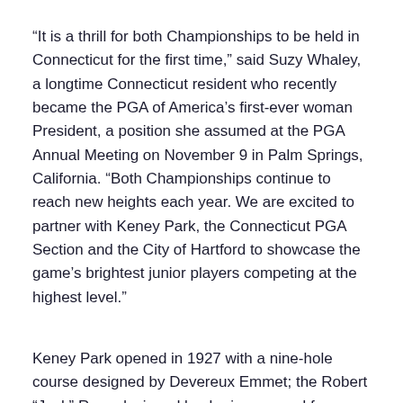“It is a thrill for both Championships to be held in Connecticut for the first time,” said Suzy Whaley, a longtime Connecticut resident who recently became the PGA of America’s first-ever woman President, a position she assumed at the PGA Annual Meeting on November 9 in Palm Springs, California. “Both Championships continue to reach new heights each year. We are excited to partner with Keney Park, the Connecticut PGA Section and the City of Hartford to showcase the game’s brightest junior players competing at the highest level.”
Keney Park opened in 1927 with a nine-hole course designed by Devereux Emmet; the Robert “Jack” Ross-designed back-nine opened four years later. In 2014, the Connecticut PGA Section signed an agreement to serve as consultants to help